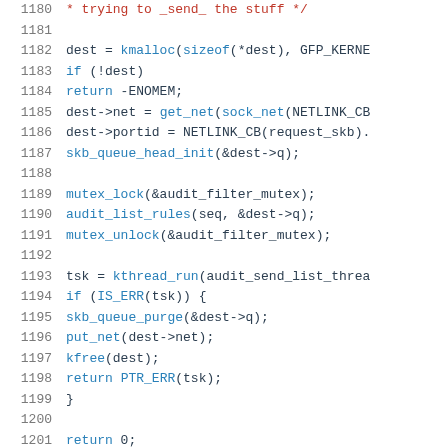[Figure (screenshot): Source code listing in monospace font with syntax highlighting, showing C kernel code lines 1180-1201 involving kmalloc, netlink, mutex, and kthread operations.]